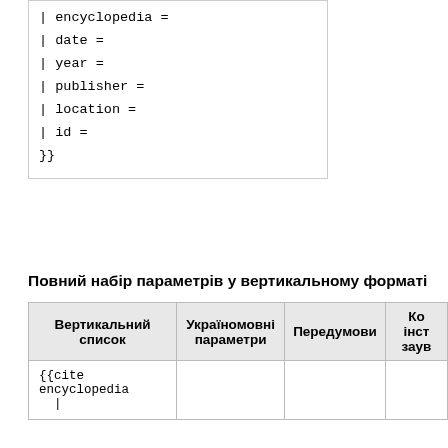| encyclopedia =
| date =
| year =
| publisher =
| location =
| id =
}}
Повний набір параметрів у вертикальному форматі
| Вертикальний список | Україномовні параметри | Передумови | Ко інст зауv |
| --- | --- | --- | --- |
| {{cite encyclopedia |  |  |  |